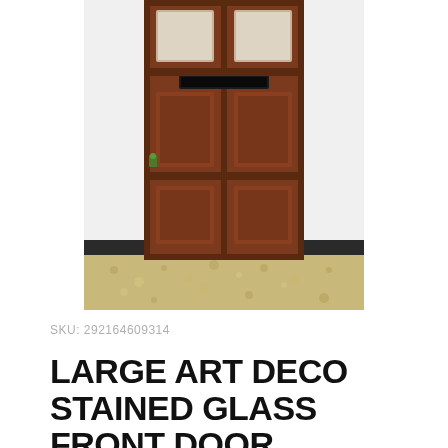[Figure (photo): A large antique wooden front door with stained glass panels at the top, a letterbox, and raised panel details, photographed standing upright outside a building with a white wall and gravel floor visible.]
SKU: 292164609314
LARGE ART DECO STAINED GLASS FRONT DOOR RECLAIMED OLD PERIOD ANTIQUE LEAD WOOD 1